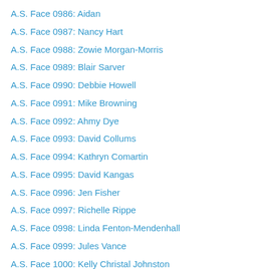A.S. Face 0986: Aidan
A.S. Face 0987: Nancy Hart
A.S. Face 0988: Zowie Morgan-Morris
A.S. Face 0989: Blair Sarver
A.S. Face 0990: Debbie Howell
A.S. Face 0991: Mike Browning
A.S. Face 0992: Ahmy Dye
A.S. Face 0993: David Collums
A.S. Face 0994: Kathryn Comartin
A.S. Face 0995: David Kangas
A.S. Face 0996: Jen Fisher
A.S. Face 0997: Richelle Rippe
A.S. Face 0998: Linda Fenton-Mendenhall
A.S. Face 0999: Jules Vance
A.S. Face 1000: Kelly Christal Johnston
A.S. Face 1001: Richard Howard
A.S. Face 1002: Michael Lemieux
A.S. Face 1003: D.I.
A.S. Face 1004: Helen Jesson
A.S. Face 1005: Kai…